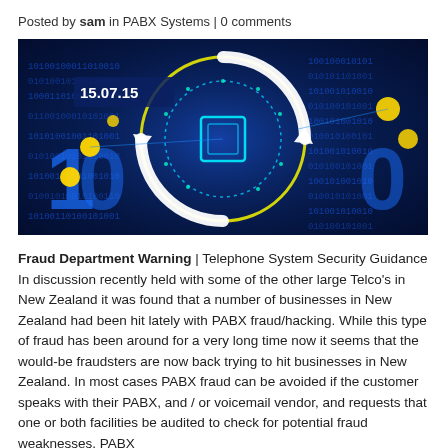Posted by sam in PABX Systems | 0 comments
[Figure (photo): A dark blue digital/cybersecurity themed image with binary code patterns, circular radar/target graphics in white and yellow, and glowing circuit board elements. Date stamp '15.07.15' in top left corner.]
Fraud Department Warning | Telephone System Security Guidance In discussion recently held with some of the other large Telco's in New Zealand it was found that a number of businesses in New Zealand had been hit lately with PABX fraud/hacking. While this type of fraud has been around for a very long time now it seems that the would-be fraudsters are now back trying to hit businesses in New Zealand. In most cases PABX fraud can be avoided if the customer speaks with their PABX, and / or voicemail vendor, and requests that one or both facilities be audited to check for potential fraud weaknesses. PABX